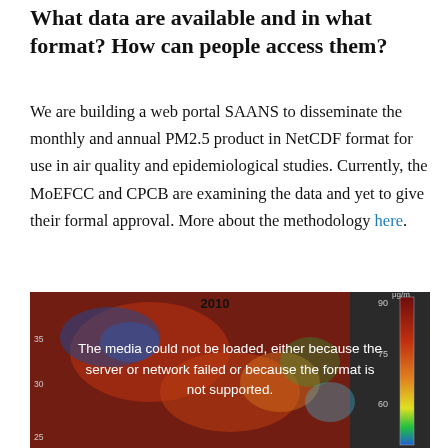What data are available and in what format? How can people access them?
We are building a web portal SAANS to disseminate the monthly and annual PM2.5 product in NetCDF format for use in air quality and epidemiological studies. Currently, the MoEFCC and CPCB are examining the data and yet to give their formal approval. More about the methodology here.
[Figure (map): Animated map of India showing PM2.5 concentration data for 2010, with a color scale ranging from approximately 60 to 90+ μg/m³. The map uses a heat-map color scheme (blue to dark red). A media loading error message is shown: 'The media could not be loaded, either because the server or network failed or because the format is not supported.']